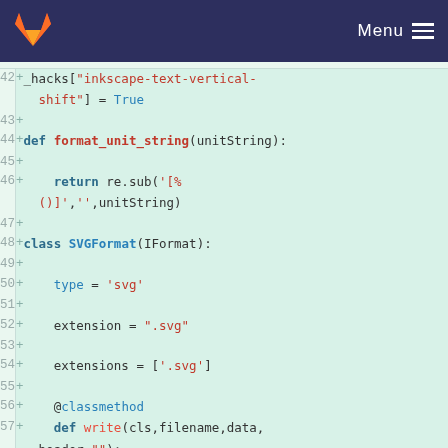Menu
[Figure (screenshot): GitLab code diff view showing Python code lines 42–58 with additions marked in green. Lines show _hacks assignment, format_unit_string function definition, return statement, SVGFormat class definition with type, extension, extensions attributes, classmethod decorator, and write method definition.]